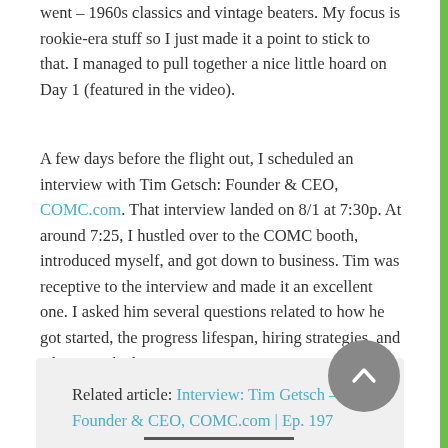went – 1960s classics and vintage beaters. My focus is rookie-era stuff so I just made it a point to stick to that. I managed to pull together a nice little hoard on Day 1 (featured in the video).
A few days before the flight out, I scheduled an interview with Tim Getsch: Founder & CEO, COMC.com. That interview landed on 8/1 at 7:30p. At around 7:25, I hustled over to the COMC booth, introduced myself, and got down to business. Tim was receptive to the interview and made it an excellent one. I asked him several questions related to how he got started, the progress lifespan, hiring strategies, and what's on the horizon.
Related article: Interview: Tim Getsch – Founder & CEO, COMC.com | Ep. 197
I took pics of interesting pieces as I went along. My mom supplied general event photos. Enjoy the gallery.